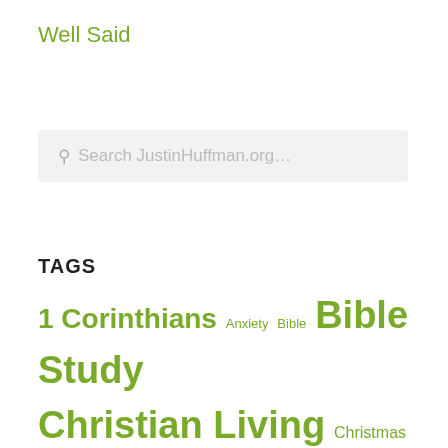Well Said
Search JustinHuffman.org...
TAGS
1 Corinthians Anxiety Bible Bible Study Christian Living Christmas Church Cross Encouragement Evangelism Faith Family Fear Finances Forgiveness Genesis God God's